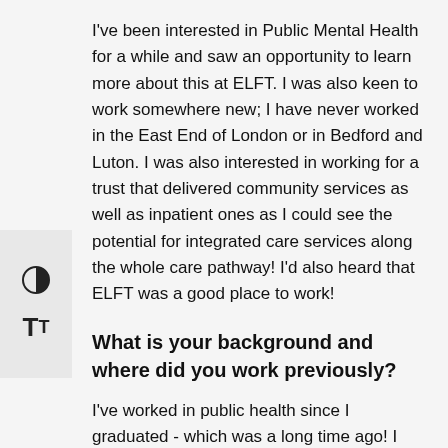I've been interested in Public Mental Health for a while and saw an opportunity to learn more about this at ELFT. I was also keen to work somewhere new; I have never worked in the East End of London or in Bedford and Luton. I was also interested in working for a trust that delivered community services as well as inpatient ones as I could see the potential for integrated care services along the whole care pathway! I'd also heard that ELFT was a good place to work!
What is your background and where did you work previously?
I've worked in public health since I graduated - which was a long time ago! I started work in